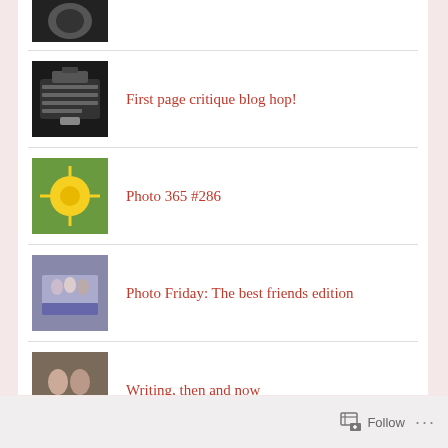[Figure (photo): Partial thumbnail of a dark image at top]
First page critique blog hop!
Photo 365 #286
Photo Friday: The best friends edition
Writing, then and now
And now for the review!
Follow ...